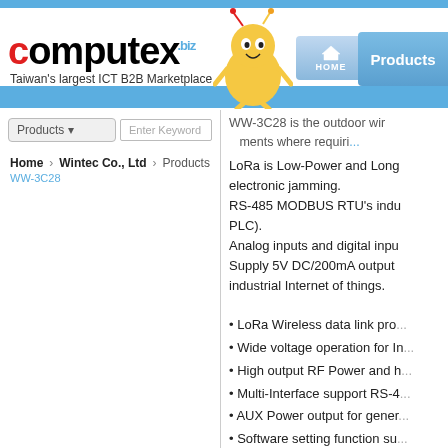computex.biz — Taiwan's largest ICT B2B Marketplace
WW-3C28 is the outdoor wir... ments where requiri...
LoRa is Low-Power and Long... electronic jamming. RS-485 MODBUS RTU's indu... PLC). Analog inputs and digital inpu... Supply 5V DC/200mA output ... industrial Internet of things.
LoRa Wireless data link pro...
Wide voltage operation for In...
High output RF Power and h...
Multi-Interface support RS-4...
AUX Power output for gener...
Software setting function su...
Resist the water, dust, temp...